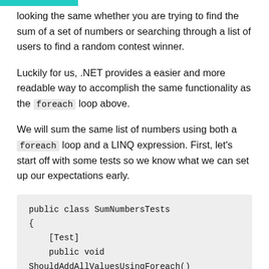looking the same whether you are trying to find the sum of a set of numbers or searching through a list of users to find a random contest winner.
Luckily for us, .NET provides a easier and more readable way to accomplish the same functionality as the foreach loop above.
We will sum the same list of numbers using both a foreach loop and a LINQ expression. First, let's start off with some tests so we know what we can set up our expectations early.
[Figure (screenshot): Code block showing: public class SumNumbersTests { [Test] public void ShouldAddAllValuesUsingForeach()]